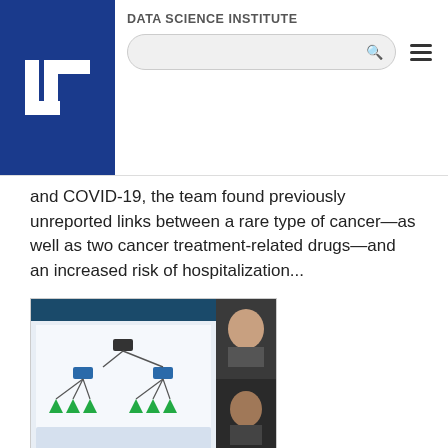DATA SCIENCE INSTITUTE
and COVID-19, the team found previously unreported links between a rare type of cancer—as well as two cancer treatment-related drugs—and an increased risk of hospitalization...
[Figure (screenshot): Screenshot of a virtual meeting showing a network diagram with tree structure on the left and video participants on the right]
Winter hackathon meets WiDS datathon
March 9, 2022 - Sponsored by the DSI, LLNL's winter hackathon took place on February 16–17. Hackathons are 24-hour events that encourage collaborative programming and creative problem solving. In addition to traditional hacking, the hackathon included a special datathon competition in